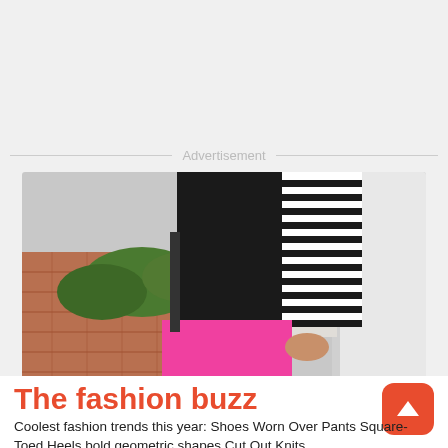Advertisement
[Figure (photo): A person wearing a black top with a black and white striped blazer and bright pink pants, standing on a brick pathway outdoors near green bushes and a white building.]
The fashion buzz
Coolest fashion trends this year: Shoes Worn Over Pants Square-Toed Heels bold geometric shapes Cut Out Knits